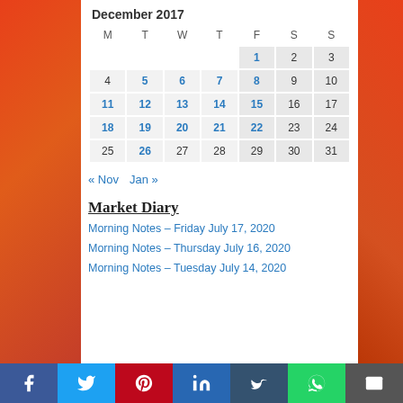December 2017
| M | T | W | T | F | S | S |
| --- | --- | --- | --- | --- | --- | --- |
|  |  |  |  | 1 | 2 | 3 |
| 4 | 5 | 6 | 7 | 8 | 9 | 10 |
| 11 | 12 | 13 | 14 | 15 | 16 | 17 |
| 18 | 19 | 20 | 21 | 22 | 23 | 24 |
| 25 | 26 | 27 | 28 | 29 | 30 | 31 |
« Nov    Jan »
Market Diary
Morning Notes – Friday July 17, 2020
Morning Notes – Thursday July 16, 2020
Morning Notes – Tuesday July 14, 2020
f  Twitter  Pinterest  in  t  WhatsApp  Email